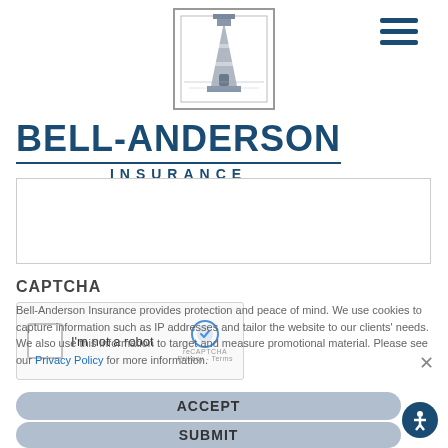[Figure (logo): Bell-Anderson Insurance lighthouse logo in a square frame, gray and blue tones]
BELL-ANDERSON INSURANCE
[Text input area / form field]
CAPTCHA
[Figure (other): reCAPTCHA widget with checkbox and 'I'm not a robot' text, reCAPTCHA logo]
Bell-Anderson Insurance provides protection and peace of mind. We use cookies to capture information such as IP addresses and tailor the website to our clients' needs. We also use this information to target and measure promotional material. Please see our Privacy Policy for more information.
ACCEPT
SUBMIT